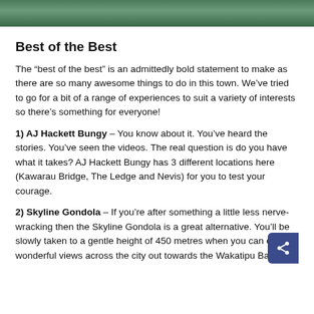[Figure (photo): Top portion of an outdoor photo, showing greenery and trees, cropped at the top of the page]
Best of the Best
The “best of the best” is an admittedly bold statement to make as there are so many awesome things to do in this town. We’ve tried to go for a bit of a range of experiences to suit a variety of interests so there’s something for everyone!
1) AJ Hackett Bungy – You know about it. You’ve heard the stories. You’ve seen the videos. The real question is do you have what it takes? AJ Hackett Bungy has 3 different locations here (Kawarau Bridge, The Ledge and Nevis) for you to test your courage.
2) Skyline Gondola – If you’re after something a little less nerve-wracking then the Skyline Gondola is a great alternative. You’ll be slowly taken to a gentle height of 450 metres when you can enjoy wonderful views across the city out towards the Wakatipu Basin.